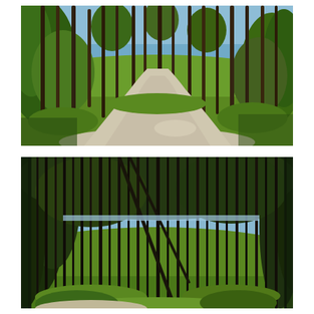[Figure (photo): A paved path winding through a pine forest with tall slender tree trunks on both sides, green grass and undergrowth visible, with a glimpse of blue water in the background through the trees. Bright daylight, spring or summer scene.]
[Figure (photo): A dense pine forest with many tall dark tree trunks, green grass and shrubs on the ground, and a blue lake or water body visible through the trees in the middle distance. A path is partially visible at the bottom. Bright daylight, spring or summer scene.]